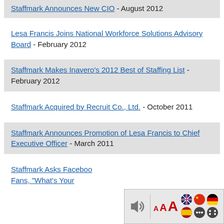Staffmark Announces New CIO - August 2012
Lesa Francis Joins National Workforce Solutions Advisory Board - February 2012
Staffmark Makes Inavero's 2012 Best of Staffing List - February 2012
Staffmark Acquired by Recruit Co., Ltd. - October 2011
Staffmark Announces Promotion of Lesa Francis to Chief Executive Officer - March 2011
Staffmark Asks Facebook Fans, "What's Your...